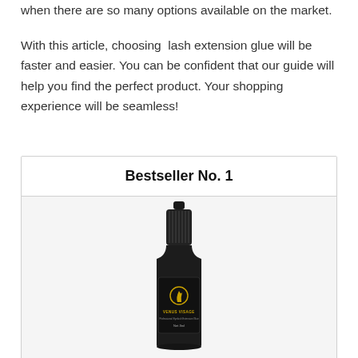when there are so many options available on the market.

With this article, choosing lash extension glue will be faster and easier. You can be confident that our guide will help you find the perfect product. Your shopping experience will be seamless!
Bestseller No. 1
[Figure (photo): A small black bottle of Venus Visage professional eyelash extension glue, Net 3ml, with a black dropper cap.]